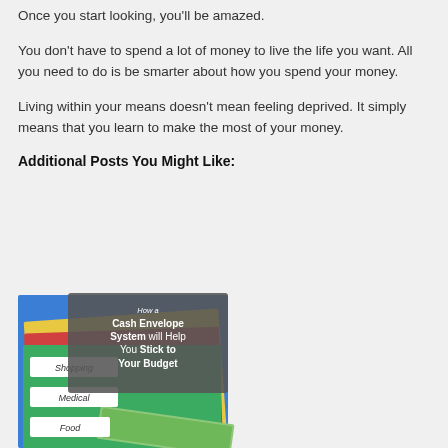Once you start looking, you'll be amazed.
You don't have to spend a lot of money to live the life you want. All you need to do is be smarter about how you spend your money.
Living within your means doesn't mean feeling deprived. It simply means that you learn to make the most of your money.
Additional Posts You Might Like:
[Figure (photo): Image showing colorful cash envelopes labeled Shopping, Medical, Food with dollar bills, overlaid with text: How a Cash Envelope System will Help You Stick to Your Budget]